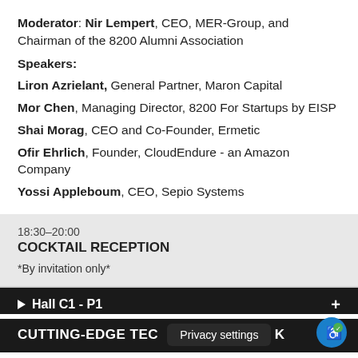Moderator: Nir Lempert, CEO, MER-Group, and Chairman of the 8200 Alumni Association
Speakers:
Liron Azrielant, General Partner, Maron Capital
Mor Chen, Managing Director, 8200 For Startups by EISP
Shai Morag, CEO and Co-Founder, Ermetic
Ofir Ehrlich, Founder, CloudEndure - an Amazon Company
Yossi Appleboum, CEO, Sepio Systems
18:30–20:00
COCKTAIL RECEPTION
*By invitation only*
Hall C1 - P1
CUTTING-EDGE TEC[Privacy settings]K